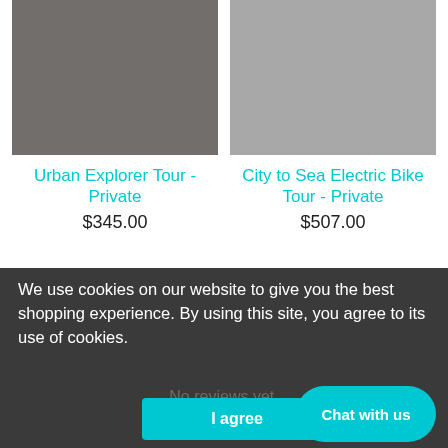[Figure (photo): Dark gray/brownish product image placeholder for Urban Explorer Tour - Private]
Urban Explorer Tour - Private
$345.00
[Figure (photo): Light gray product image placeholder for City to Sea Electric Bike Tour - Private]
City to Sea Electric Bike Tour - Private
$507.00
We use cookies on our website to give you the best shopping experience. By using this site, you agree to its use of cookies.
No reviews yet.
I agree
Chat with us